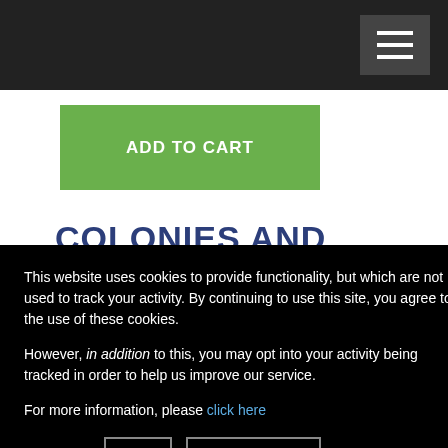ADD TO CART
COLONIES AND EMPIRES
In a sci-fi campaign, heroes trek from planet to planet and through the deep ocean of space, meeting strange aliens and new civilizations or the ruins of societies long passed into ... their fortune is ... ent merely to ... universe, to ... rs on the ... med asteroid ... r of a deadly ... ay to opportunity, ... spaceports and ... st to claim a world ... these heroes ... domain, building
This website uses cookies to provide functionality, but which are not used to track your activity. By continuing to use this site, you agree to the use of these cookies.

However, in addition to this, you may opt into your activity being tracked in order to help us improve our service.

For more information, please click here
OK  No, thank you